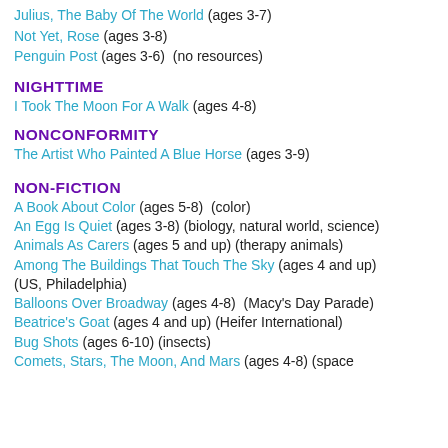Julius, The Baby Of The World (ages 3-7)
Not Yet, Rose (ages 3-8)
Penguin Post (ages 3-6)  (no resources)
NIGHTTIME
I Took The Moon For A Walk (ages 4-8)
NONCONFORMITY
The Artist Who Painted A Blue Horse (ages 3-9)
NON-FICTION
A Book About Color (ages 5-8)  (color)
An Egg Is Quiet (ages 3-8) (biology, natural world, science)
Animals As Carers (ages 5 and up) (therapy animals)
Among The Buildings That Touch The Sky (ages 4 and up) (US, Philadelphia)
Balloons Over Broadway (ages 4-8)  (Macy's Day Parade)
Beatrice's Goat (ages 4 and up) (Heifer International)
Bug Shots (ages 6-10) (insects)
Comets, Stars, The Moon, And Mars (ages 4-8) (space